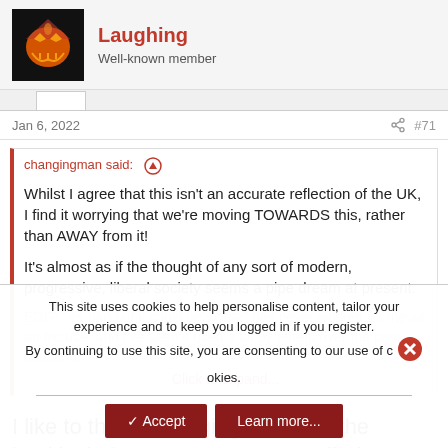Laughing
Well-known member
Jan 6, 2022  #71
changingman said: ↑

Whilst I agree that this isn't an accurate reflection of the UK, I find it worrying that we're moving TOWARDS this, rather than AWAY from it!

It's almost as if the thought of any sort of modern, progressive, liberal society seems a pipe dream at present.

EDIT: "it's bad but it could be worse" has never worked for me as an excuse, and I've seen it used a lot by others over the past couple of...

Click to expand...
I like to think, Changingman, that the backlash the government are suffering at the moment, demonstrates that we, as a society,
This site uses cookies to help personalise content, tailor your experience and to keep you logged in if you register.
By continuing to use this site, you are consenting to our use of cookies.